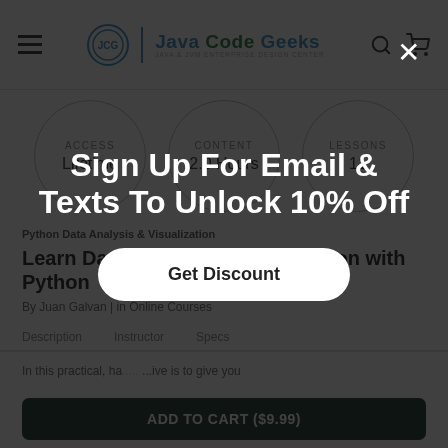Java Code Geeks — header with hamburger menu, logo, search and cart icons
[Figure (infographic): Three circular badges: ACCESS Lifetime, CONTENT 2.0 Hours, LESSONS 11]
Python Data Analysis & Visualization
Learn Data Analysis & Visualization with Python
By Juan Galvan | in Online Courses
Description   Instructor   Specs
In this practical, ha... ...ive is to give you
[Figure (screenshot): Modal overlay: Sign Up For Email & Texts To Unlock 10% Off with Get Discount button and close X]
ADD TO CART ($9.99)